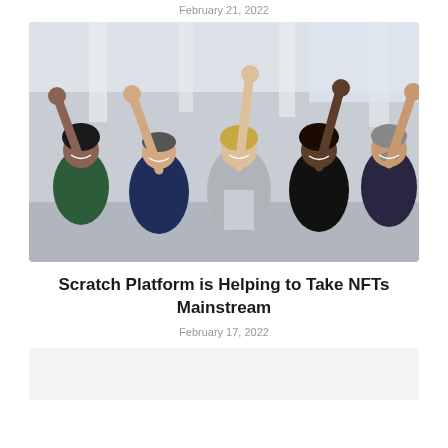February 21, 2022
[Figure (photo): Five business professionals celebrating with fists raised in the air, smiling and cheering in a bright modern building interior.]
Scratch Platform is Helping to Take NFTs Mainstream
February 17, 2022
[Figure (photo): Partially visible bottom card/thumbnail area with light gray background.]